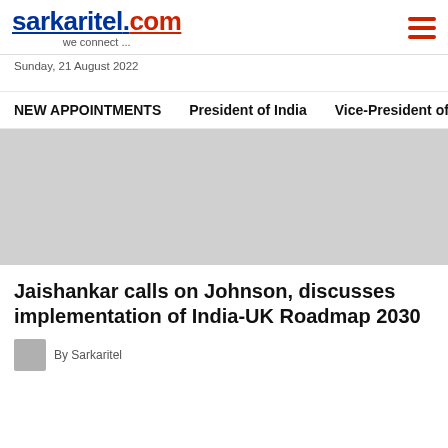sarkaritel.com — we connect ...
Sunday, 21 August 2022
NEW APPOINTMENTS   President of India   Vice-President of
[Figure (other): Gray advertisement banner area]
Jaishankar calls on Johnson, discusses implementation of India-UK Roadmap 2030
By Sarkaritel